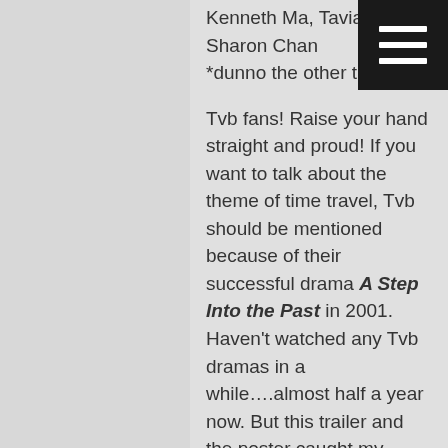Kenneth Ma, Tavia Yeung, Sharon Chan *dunno the other three*
Tvb fans! Raise your hand straight and proud! If you want to talk about the theme of time travel, Tvb should be mentioned because of their successful drama A Step Into the Past in 2001. Haven't watched any Tvb dramas in a while….almost half a year now. But this trailer and the poster caught my attention. The poster is surprisingly well-done. I love the cross between the past and present with the ancient stamp holding modern text. It may look over-crowded but I think that's the intention, capturing all the appalled and curious look of the characters to the intrusion of one man.
This series is set to air in July. Looking